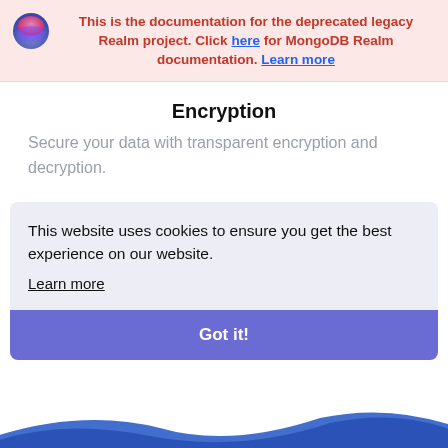This is the documentation for the deprecated legacy Realm project. Click here for MongoDB Realm documentation. Learn more
Encryption
Secure your data with transparent encryption and decryption.
This website uses cookies to ensure you get the best experience on our website.
Learn more
Got it!